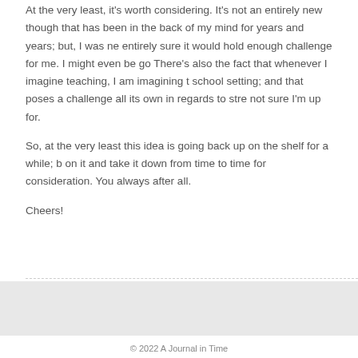At the very least, it's worth considering. It's not an entirely new thought, that has been in the back of my mind for years and years; but, I was not entirely sure it would hold enough challenge for me. I might even be good. There's also the fact that whenever I imagine teaching, I am imagining the school setting; and that poses a challenge all its own in regards to stress I'm not sure I'm up for.
So, at the very least this idea is going back up on the shelf for a while; but I'll keep on it and take it down from time to time for consideration. You always have options, after all.
Cheers!
[Figure (other): Gray banner/footer background area]
© 2022 A Journal in Time